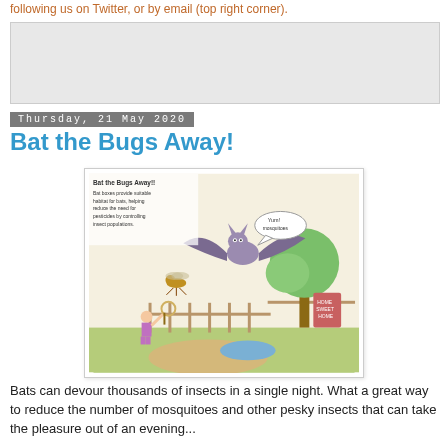following us on Twitter, or by email (top right corner).
[Figure (other): Advertisement placeholder box (light gray)]
Thursday, 21 May 2020
Bat the Bugs Away!
[Figure (illustration): Children's hand-drawn colored illustration showing a bat flying and eating mosquitoes in a park scene. Text in illustration reads: 'Bat the Bugs Away!! Bat boxes provide suitable habitat for bats, helping reduce the need for pesticides by controlling insect populations.' A speech bubble from the bat says 'Yum! mosquitoes'. A child stands below with a butterfly net. There is a pond, path, fence, and tree in the background.]
Bats can devour thousands of insects in a single night. What a great way to reduce the number of mosquitoes and other pesky insects that can take the pleasure out of an evening...